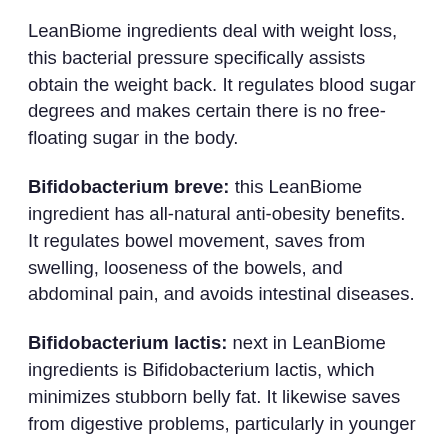LeanBiome ingredients deal with weight loss, this bacterial pressure specifically assists obtain the weight back. It regulates blood sugar degrees and makes certain there is no free-floating sugar in the body.
Bifidobacterium breve: this LeanBiome ingredient has all-natural anti-obesity benefits. It regulates bowel movement, saves from swelling, looseness of the bowels, and abdominal pain, and avoids intestinal diseases.
Bifidobacterium lactis: next in LeanBiome ingredients is Bifidobacterium lactis, which minimizes stubborn belly fat. It likewise saves from digestive problems, particularly in younger